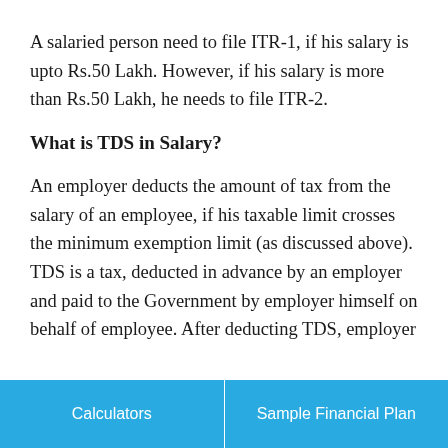A salaried person need to file ITR-1, if his salary is upto Rs.50 Lakh. However, if his salary is more than Rs.50 Lakh, he needs to file ITR-2.
What is TDS in Salary?
An employer deducts the amount of tax from the salary of an employee, if his taxable limit crosses the minimum exemption limit (as discussed above). TDS is a tax, deducted in advance by an employer and paid to the Government by employer himself on behalf of employee. After deducting TDS, employer
Calculators | Sample Financial Plan